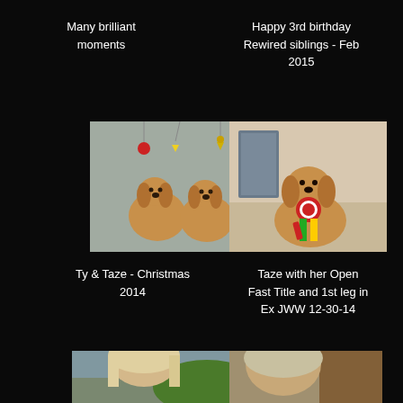Many brilliant moments
Happy 3rd birthday Rewired siblings - Feb 2015
[Figure (photo): Two golden retriever dogs sitting together with Christmas decorations (ornaments and stars) hanging above them, silver glittery background — Ty & Taze Christmas photo]
[Figure (photo): A golden retriever dog wearing colorful ribbons/rosettes around its neck, standing indoors — Taze with her Open Fast Title]
Ty & Taze - Christmas 2014
Taze with her Open Fast Title and 1st leg in Ex JWW 12-30-14
[Figure (photo): Partial photo of a blonde woman outdoors]
[Figure (photo): Partial photo of a woman indoors near a wooden surface]